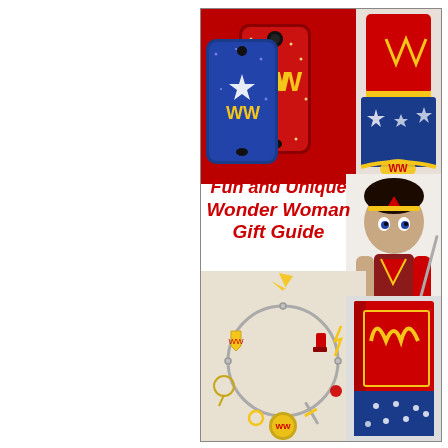[Figure (infographic): Wonder Woman gift guide collage showing: red/blue glitter phone cases with Wonder Woman logo, Wonder Woman costume (red and blue with yellow details), Funko Pop Wonder Woman figure, Wonder Woman charm bracelet, and red Wonder Woman notebook/journal. Center text reads 'Fun and Unique Wonder Woman Gift Guide' in red italic bold font.]